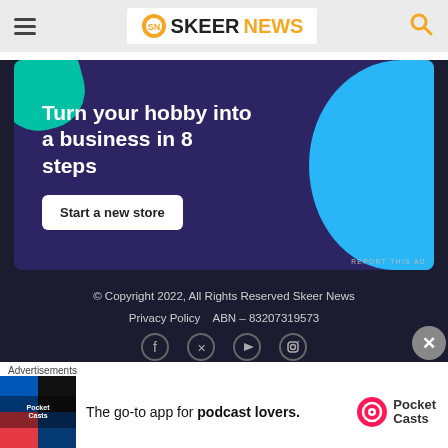[Figure (screenshot): Skeer News website header with hamburger menu, logo, and search icon on grey background]
[Figure (infographic): WooCommerce advertisement banner: 'Turn your hobby into a business in 8 steps' with 'Start a new store' button on dark purple background with teal and blue blobs]
REPORT THIS AD
© Copyright 2022, All Rights Reserved Skeer News
Privacy Policy    ABN – 83207319573
[Figure (other): Social media icons row: Facebook, Twitter, YouTube, Instagram]
[Figure (other): Close/dismiss button (X in circle)]
Advertisements
[Figure (other): Pocket Casts app advertisement: 'The go-to app for podcast lovers.' with Pocket Casts logo]